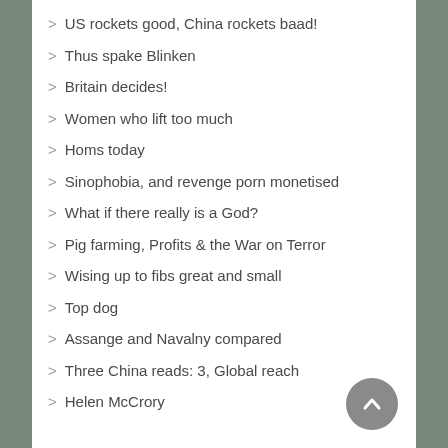US rockets good, China rockets baad!
Thus spake Blinken
Britain decides!
Women who lift too much
Homs today
Sinophobia, and revenge porn monetised
What if there really is a God?
Pig farming, Profits & the War on Terror
Wising up to fibs great and small
Top dog
Assange and Navalny compared
Three China reads: 3, Global reach
Helen McCrory